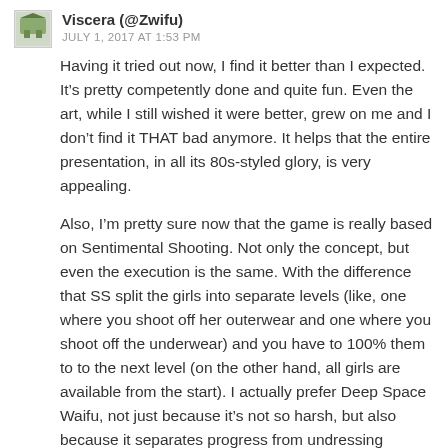Viscera (@Zwifu)
JULY 1, 2017 AT 1:53 PM
Having it tried out now, I find it better than I expected. It’s pretty competently done and quite fun. Even the art, while I still wished it were better, grew on me and I don’t find it THAT bad anymore. It helps that the entire presentation, in all its 80s-styled glory, is very appealing.
Also, I’m pretty sure now that the game is really based on Sentimental Shooting. Not only the concept, but even the execution is the same. With the difference that SS split the girls into separate levels (like, one where you shoot off her outerwear and one where you shoot off the underwear) and you have to 100% them to to the next level (on the other hand, all girls are available from the start). I actually prefer Deep Space Waifu, not just because it’s not so harsh, but also because it separates progress from undressing